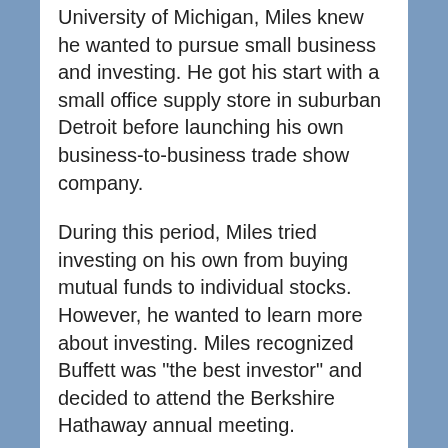University of Michigan, Miles knew he wanted to pursue small business and investing. He got his start with a small office supply store in suburban Detroit before launching his own business-to-business trade show company.
During this period, Miles tried investing on his own from buying mutual funds to individual stocks. However, he wanted to learn more about investing. Miles recognized Buffett was "the best investor" and decided to attend the Berkshire Hathaway annual meeting.
Miles says he was "blown away" by the way Buffett ran his company.
"I just thought this company and the managers were so profound," Miles says.